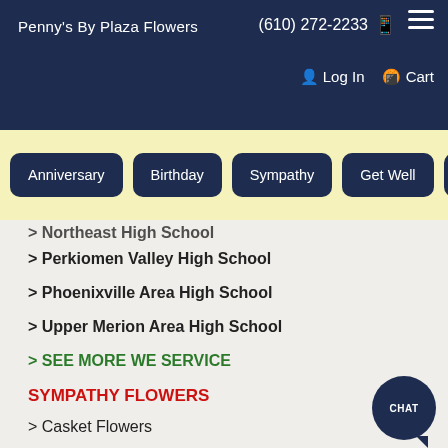Penny's By Plaza Flowers
(610) 272-2233
Log In  Cart
Anniversary
Birthday
Sympathy
Get Well
> Northeast High School
> Perkiomen Valley High School
> Phoenixville Area High School
> Upper Merion Area High School
> SEE MORE WE SERVICE
SYMPATHY FLOWERS
> Casket Flowers
> Funeral Flower Baskets